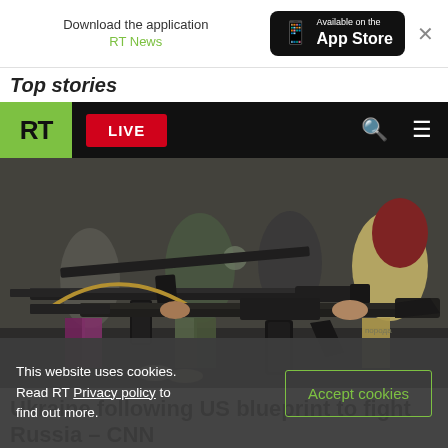Download the application RT News — Available on the App Store
Top stories
RT LIVE
[Figure (photo): Group of people aiming assault rifles (AK-style) in what appears to be an indoor firing range or training facility. Multiple women in various clothing including camouflage are shown holding and aiming rifles.]
Ukraine following US blueprint to fight Russia – CNN
This website uses cookies. Read RT Privacy policy to find out more.